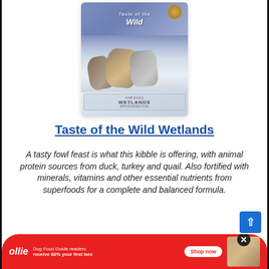[Figure (photo): Taste of the Wild Wetlands dry dog food bag with wolves on snowy background]
Taste of the Wild Wetlands
A tasty fowl feast is what this kibble is offering, with animal protein sources from duck, turkey and quail. Also fortified with minerals, vitamins and other essential nutrients from superfoods for a complete and balanced formula.
[Figure (illustration): Ollie advertisement banner: Dog Food Guide readers receive 60% your first box. Shop now button with dog food photo.]